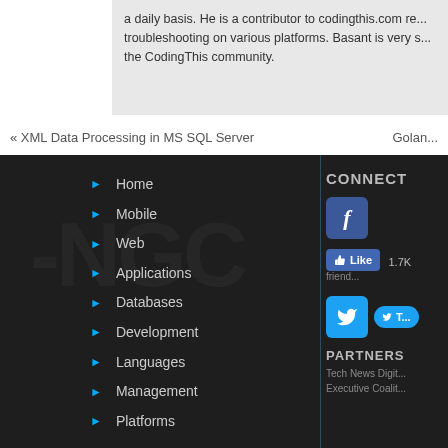a daily basis. He is a contributor to codingthis.com re... troubleshooting on various platforms. Basant is very s... the CodingThis community.
« XML Data Processing in MS SQL Server
Golan...
Home
Mobile
Web
Applications
Databases
Development
Languages
Management
Platforms
CONNECT
Like 1.7K friend...
PARTNERS
Tech News Digit... Executive Coalit...